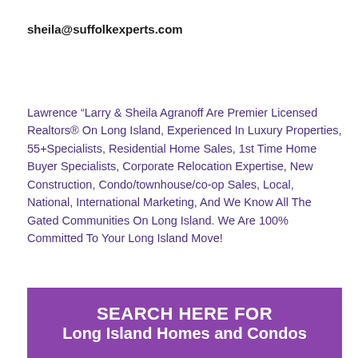sheila@suffolkexperts.com
Lawrence “Larry & Sheila Agranoff Are Premier Licensed Realtors® On Long Island, Experienced In Luxury Properties, 55+Specialists, Residential Home Sales, 1st Time Home Buyer Specialists, Corporate Relocation Expertise, New Construction, Condo/townhouse/co-op Sales, Local, National, International Marketing, And We Know All The Gated Communities On Long Island. We Are 100% Committed To Your Long Island Move!
[Figure (infographic): Purple banner with white bold text reading SEARCH HERE FOR Long Island Homes and Condos]